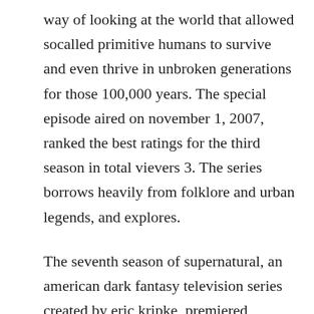way of looking at the world that allowed socalled primitive humans to survive and even thrive in unbroken generations for those 100,000 years. The special episode aired on november 1, 2007, ranked the best ratings for the third season in total vievers 3. The series borrows heavily from folklore and urban legends, and explores.
The seventh season of supernatural, an american dark fantasy television series created by eric kripke, premiered september 23, 2011, and concluded may 18, 2012, airing 23